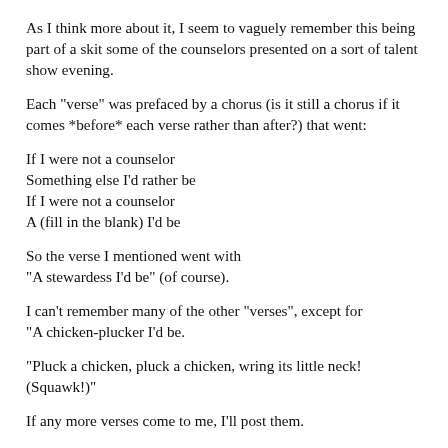As I think more about it, I seem to vaguely remember this being part of a skit some of the counselors presented on a sort of talent show evening.
Each "verse" was prefaced by a chorus (is it still a chorus if it comes *before* each verse rather than after?) that went:
If I were not a counselor
Something else I'd rather be
If I were not a counselor
A (fill in the blank) I'd be
So the verse I mentioned went with
"A stewardess I'd be" (of course).
I can't remember many of the other "verses", except for
"A chicken-plucker I'd be.
"Pluck a chicken, pluck a chicken, wring its little neck!
(Squawk!)"
If any more verses come to me, I'll post them.
I suspect that the chicken-plucker verse may have been "written" the...